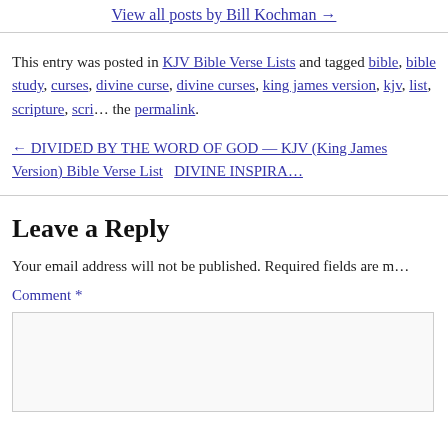View all posts by Bill Kochman →
This entry was posted in KJV Bible Verse Lists and tagged bible, bible study, curses, divine curse, divine curses, king james version, kjv, list, scripture, scri… the permalink.
← DIVIDED BY THE WORD OF GOD — KJV (King James Version) Bible Verse List   DIVINE INSPIRA…
Leave a Reply
Your email address will not be published. Required fields are m…
Comment *